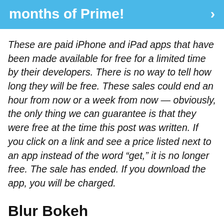months of Prime!
These are paid iPhone and iPad apps that have been made available for free for a limited time by their developers. There is no way to tell how long they will be free. These sales could end an hour from now or a week from now — obviously, the only thing we can guarantee is that they were free at the time this post was written. If you click on a link and see a price listed next to an app instead of the word “get,” it is no longer free. The sale has ended. If you download the app, you will be charged.
Blur Bokeh